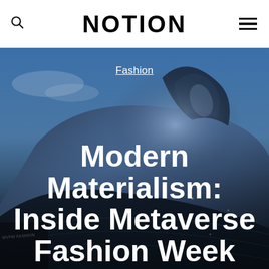NOTION
[Figure (photo): Close-up photograph of futuristic shiny dark blue sculptural fashion/vehicle surface against a blue sky background, with a small figure visible in lower left corner wearing clothing with text 'MVFW FASHION'. The image serves as a hero background for an article about Metaverse Fashion Week.]
Fashion
Modern Materialism: Inside Metaverse Fashion Week